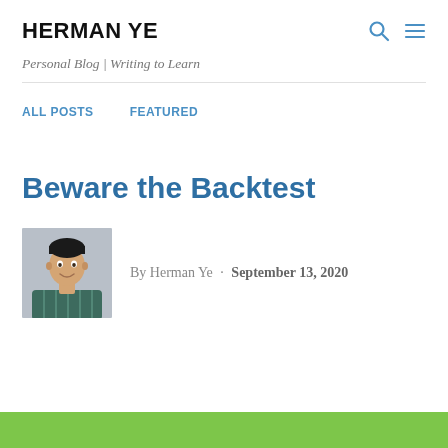HERMAN YE
Personal Blog | Writing to Learn
ALL POSTS   FEATURED
Beware the Backtest
[Figure (photo): Headshot photo of Herman Ye, a young Asian man smiling, wearing a plaid shirt, against a grey background.]
By Herman Ye · September 13, 2020